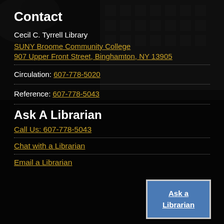Contact
Cecil C. Tyrrell Library
SUNY Broome Community College
907 Upper Front Street, Binghamton, NY 13905
Circulation: 607-778-5020
Reference: 607-778-5043
Ask A Librarian
Call Us: 607-778-5043
Chat with a Librarian
Email a Librarian
Ask a Librarian